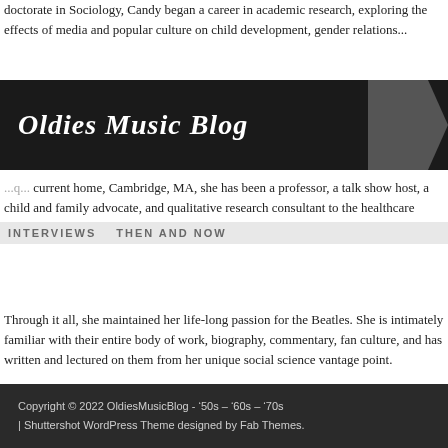doctorate in Sociology, Candy began a career in academic research, exploring the effects of media and popular culture on child development, gender relations...
Oldies Music Blog
...current home, Cambridge, MA, she has been a professor, a talk show host, a child and family advocate, and qualitative research consultant to the healthcare industry. She’s also a mother and a grandmother.
INTERVIEWS    THEN AND NOW
Through it all, she maintained her life-long passion for the Beatles. She is intimately familiar with their entire body of work, biography, commentary, fan culture, and has written and lectured on them from her unique social science vantage point.
OldiesMusicBlog.com: You were seven and a half years old when you first saw the Beatles on TV. What were your thoughts then? Do you remember? Did it seem new and odd to you?
Copyright © 2022 OldiesMusicBlog - ’50s – ’60s – ’70s | Shuttershot WordPress Theme designed by Fab Themes.